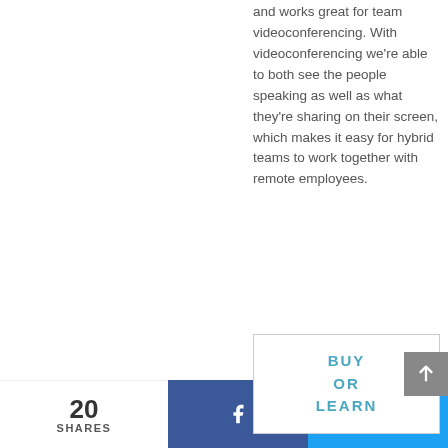and works great for team videoconferencing. With videoconferencing we're able to both see the people speaking as well as what they're sharing on their screen, which makes it easy for hybrid teams to work together with remote employees.
[Figure (other): Buy or Learn button box with cyan text]
20 SHARES | Facebook share | Twitter share